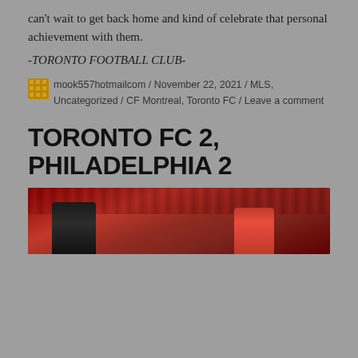can't wait to get back home and kind of celebrate that personal achievement with them.
-TORONTO FOOTBALL CLUB-
mook557hotmailcom / November 22, 2021 / MLS, Uncategorized / CF Montreal, Toronto FC / Leave a comment
TORONTO FC 2, PHILADELPHIA 2
[Figure (photo): Two soccer players in dark and red jerseys, crowd in background at a stadium]